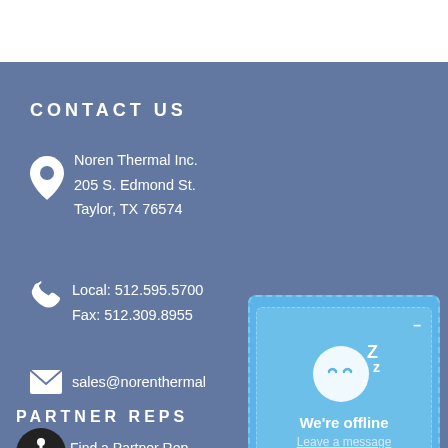CONTACT US
Noren Thermal Inc.
205 S. Edmond St.
Taylor, TX 76574
Local: 512.595.5700
Fax: 512.309.8955
sales@norenthermal
PARTNER REPS
Find a Partner Rep
Become a Partner Rep
[Figure (other): Chat widget showing a sleeping face icon with Z letters and text 'We're offline' with a 'Leave a message' link]